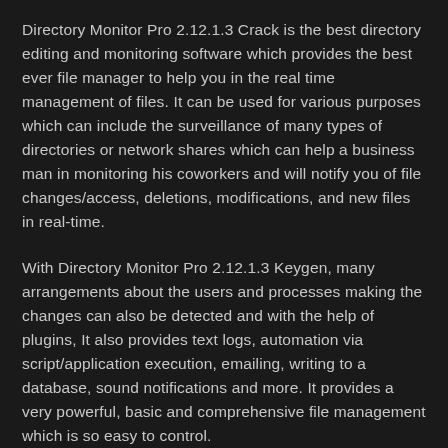Directory Monitor Pro 2.12.1.3 Crack is the best directory editing and monitoring software which provides the best ever file manager to help you in the real time management of files. It can be used for various purposes which can include the surveillance of many types of directories or network shares which can help a business man in monitoring his coworkers and will notify you of file changes/access, deletions, modifications, and new files in real-time.
With Directory Monitor Pro 2.12.1.3 Keygen, many arrangements about the users and processes making the changes can also be detected and with the help of plugins, It also provides text logs, automation via script/application execution, emailing, writing to a database, sound notifications and more. It provides a very powerful, basic and comprehensive file management which is so easy to control.
License Key Features: